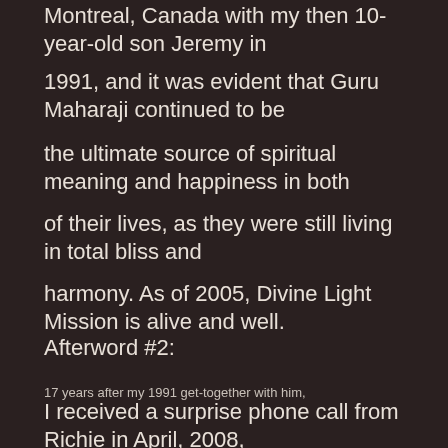Montreal, Canada with my then 10-year-old son Jeremy in
1991, and it was evident that Guru Maharaji continued to be
the ultimate source of spiritual meaning and happiness in both
of their lives, as they were still living in total bliss and
harmony. As of 2005, Divine Light Mission is alive and well.
Afterword #2:
17 years after my 1991 get-together with him,
I received a surprise phone call from Richie in April, 2008,
after not having heard from him in